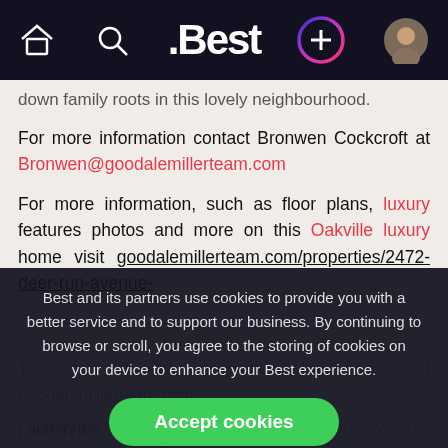.Best navigation bar with home icon, search icon, .Best logo, plus button, and user avatar
down family roots in this lovely neighbourhood.
For more information contact Bronwen Cockcroft at Bronwen@goodalemillerteam.com
For more information, such as floor plans, luxury features photos and more on this Oakville luxury home visit goodalemillerteam.com/properties/2472-deer-run-avenue-
Best and its partners use cookies to provide you with a better service and to support our business. By continuing to browse or scroll, you agree to the storing of cookies on your device to enhance your Best experience.
Accept cookies
Only essentials
Learn more about our privacy policy.
To see all the properties for sale visit goodalemillerteam.com
*Subscribe* to this channel for more videos. youtube.com/user/Go
LIKE THIS